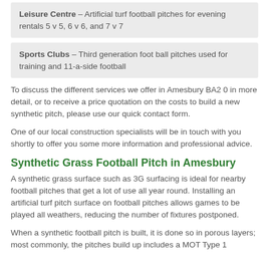Leisure Centre – Artificial turf football pitches for evening rentals 5 v 5, 6 v 6, and 7 v 7
Sports Clubs – Third generation foot ball pitches used for training and 11-a-side football
To discuss the different services we offer in Amesbury BA2 0 in more detail, or to receive a price quotation on the costs to build a new synthetic pitch, please use our quick contact form.
One of our local construction specialists will be in touch with you shortly to offer you some more information and professional advice.
Synthetic Grass Football Pitch in Amesbury
A synthetic grass surface such as 3G surfacing is ideal for nearby football pitches that get a lot of use all year round. Installing an artificial turf pitch surface on football pitches allows games to be played all weathers, reducing the number of fixtures postponed.
When a synthetic football pitch is built, it is done so in porous layers; most commonly, the pitches build up includes a MOT Type 1